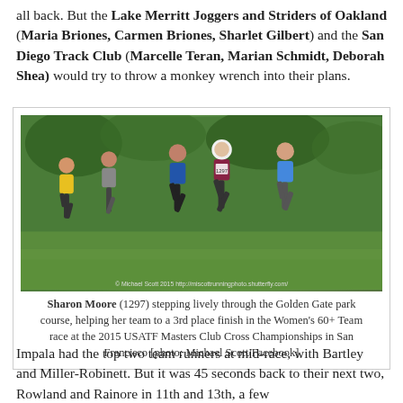all back. But the Lake Merritt Joggers and Striders of Oakland (Maria Briones, Carmen Briones, Sharlet Gilbert) and the San Diego Track Club (Marcelle Teran, Marian Schmidt, Deborah Shea) would try to throw a monkey wrench into their plans.
[Figure (photo): Runners on a green grass course during a cross country race. Several women in running gear with race bibs are shown mid-stride. Photo credit: © Michael Scott 2015 http://miscottrunningphoto.shutterfly.com/]
Sharon Moore (1297) stepping lively through the Golden Gate park course, helping her team to a 3rd place finish in the Women's 60+ Team race at the 2015 USATF Masters Club Cross Championships in San Francisco [photo: Michael Scott/Facebook]
Impala had the top two team runners at mid-race, with Bartley and Miller-Robinett. But it was 45 seconds back to their next two, Rowland and Rainore in 11th and 13th, a few